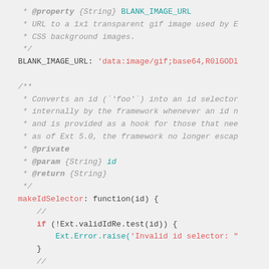Code snippet showing JavaScript documentation comments and makeIdSelector function implementation